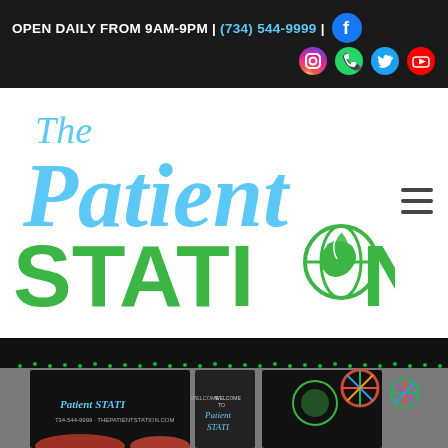OPEN DAILY FROM 9AM-9PM | (734) 544-9999 |
[Figure (logo): The Patient Station logo with blue script 'The Patient' text and large green bold 'STATION' text with a green globe/leaf icon replacing the 'O']
[Figure (photo): Storefront of The Patient Station dispensary at night with holiday lights on the roof, store signage on windows reading 'Patient Station' and 'Welcome to Patient Station', colorful pinwheel decorations, and flower planters]